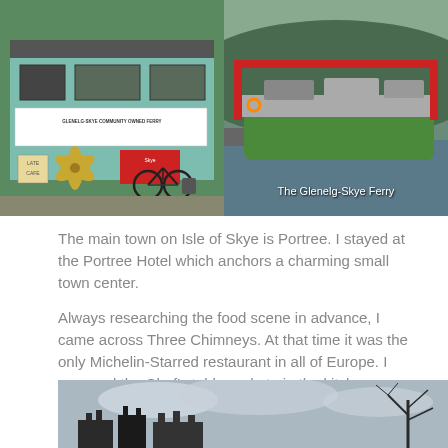[Figure (photo): Ferry office/hut building with a bicycle leaning against it and a propeller decoration. Sign reads 'Glenelg-Skye Community Owned Ferry'. Red sign and wooden propeller visible.]
[Figure (photo): The Glenelg-Skye Ferry boat on water with green hull and red framework, mountains in background. Caption reads 'The Glenelg-Skye Ferry'.]
The main town on Isle of Skye is Portree. I stayed at the Portree Hotel which anchors a charming small town center.
Always researching the food scene in advance, I came across Three Chimneys. At that time it was the only Michelin-Starred restaurant in all of Europe. I reserved the Chef's table and ate in the kitchen. Incredible experience.
[Figure (photo): Bottom partial photo showing rooftop silhouettes of buildings against a cloudy sky with bare tree branches visible on the right.]